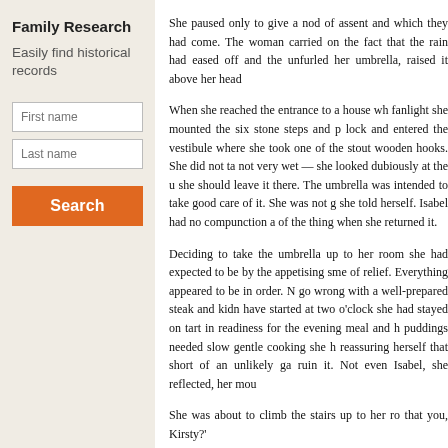Family Research
Easily find historical records
First name
Last name
Search
She paused only to give a nod of assent and which they had come. The woman carried on the fact that the rain had eased off and the unfurled her umbrella, raised it above her head
When she reached the entrance to a house wh fanlight she mounted the six stone steps and p lock and entered the vestibule where she took one of the stout wooden hooks. She did not ta not very wet — she looked dubiously at the u she should leave it there. The umbrella was intended to take good care of it. She was not g she told herself. Isabel had no compunction a of the thing when she returned it.
Deciding to take the umbrella up to her room she had expected to be by the appetising sme of relief. Everything appeared to be in order. N go wrong with a well-prepared steak and kidn have started at two o'clock she had stayed on tart in readiness for the evening meal and h puddings needed slow gentle cooking she h reassuring herself that short of an unlikely ga ruin it. Not even Isabel, she reflected, her mou
She was about to climb the stairs up to her ro that you, Kirsty?'
'It is myself,' she responded.